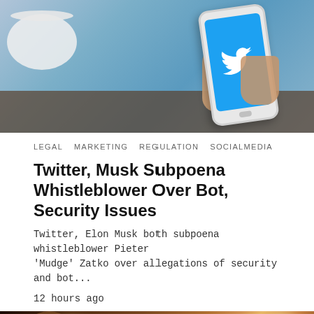[Figure (photo): Hand holding a smartphone displaying the Twitter app with blue screen and bird logo, next to a white coffee cup on a dark wooden table]
LEGAL  MARKETING  REGULATION  SOCIALMEDIA
Twitter, Musk Subpoena Whistleblower Over Bot, Security Issues
Twitter, Elon Musk both subpoena whistleblower Pieter 'Mudge' Zatko over allegations of security and bot...
12 hours ago
[Figure (photo): Woman with long hair holding a smartphone with bokeh background of colorful lights in orange and warm tones]